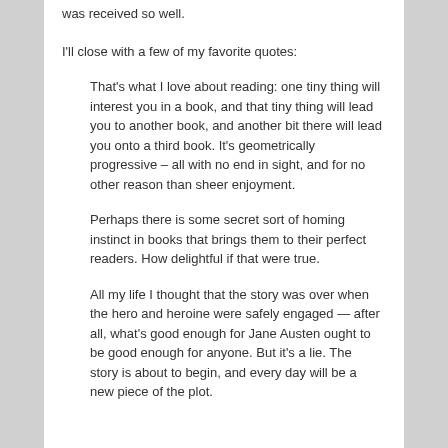was received so well.
I'll close with a few of my favorite quotes:
That's what I love about reading: one tiny thing will interest you in a book, and that tiny thing will lead you to another book, and another bit there will lead you onto a third book. It's geometrically progressive – all with no end in sight, and for no other reason than sheer enjoyment.
Perhaps there is some secret sort of homing instinct in books that brings them to their perfect readers. How delightful if that were true.
All my life I thought that the story was over when the hero and heroine were safely engaged — after all, what's good enough for Jane Austen ought to be good enough for anyone. But it's a lie. The story is about to begin, and every day will be a new piece of the plot.